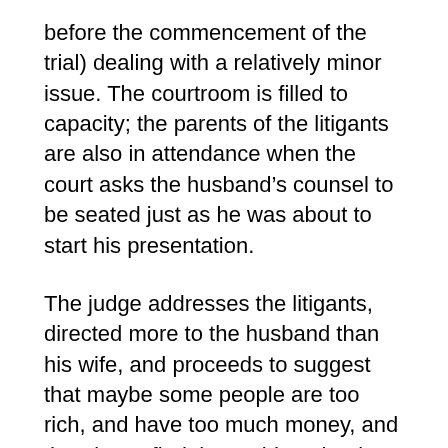before the commencement of the trial) dealing with a relatively minor issue. The courtroom is filled to capacity; the parents of the litigants are also in attendance when the court asks the husband's counsel to be seated just as he was about to start his presentation.
The judge addresses the litigants, directed more to the husband than his wife, and proceeds to suggest that maybe some people are too rich, and have too much money, and therein we find the problem that is the genesis of this marital conflict. It went downhill after that. When the husband's counsel was permitted to commence his argument, it was anti-climactic and sterile. How is the husband's counsel going to